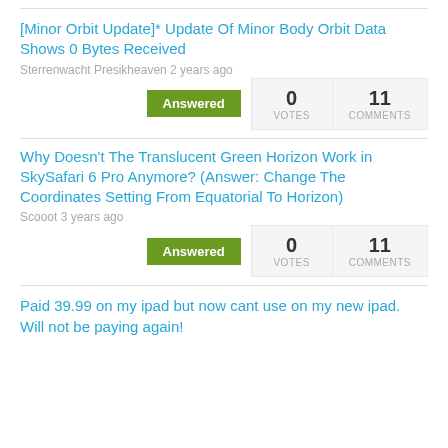[Minor Orbit Update]* Update Of Minor Body Orbit Data Shows 0 Bytes Received
Sterrenwacht Presikheaven 2 years ago
Answered | 0 VOTES | 11 COMMENTS
Why Doesn't The Translucent Green Horizon Work in SkySafari 6 Pro Anymore? (Answer: Change The Coordinates Setting From Equatorial To Horizon)
Scooot 3 years ago
Answered | 0 VOTES | 11 COMMENTS
Paid 39.99 on my ipad but now cant use on my new ipad. Will not be paying again!